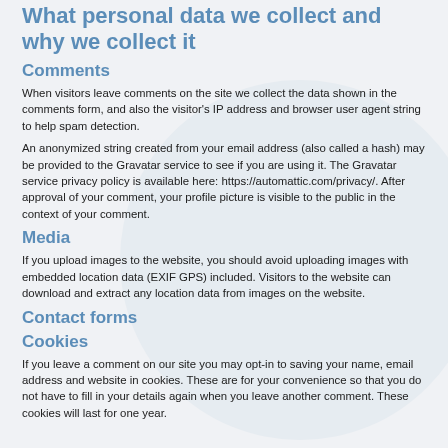What personal data we collect and why we collect it
Comments
When visitors leave comments on the site we collect the data shown in the comments form, and also the visitor's IP address and browser user agent string to help spam detection.
An anonymized string created from your email address (also called a hash) may be provided to the Gravatar service to see if you are using it. The Gravatar service privacy policy is available here: https://automattic.com/privacy/. After approval of your comment, your profile picture is visible to the public in the context of your comment.
Media
If you upload images to the website, you should avoid uploading images with embedded location data (EXIF GPS) included. Visitors to the website can download and extract any location data from images on the website.
Contact forms
Cookies
If you leave a comment on our site you may opt-in to saving your name, email address and website in cookies. These are for your convenience so that you do not have to fill in your details again when you leave another comment. These cookies will last for one year.